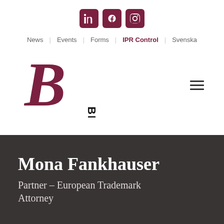[Figure (logo): Social media icons: LinkedIn, Facebook, Instagram — rounded square burgundy buttons with white icons]
News | Events | Forms | IPR Control | Svenska
[Figure (logo): Brann law firm logo — stylized italic B in dark red with BRANN text vertically beside it]
Mona Fankhauser
Partner – European Trademark Attorney